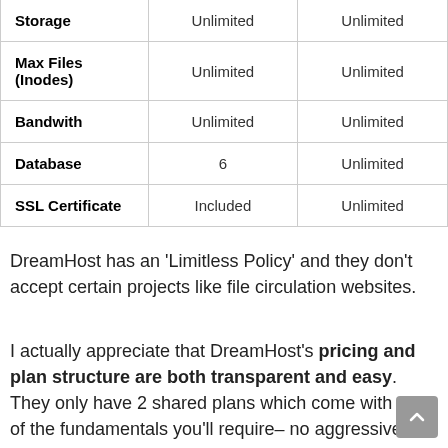|  |  |  |
| --- | --- | --- |
| Storage | Unlimited | Unlimited |
| Max Files (Inodes) | Unlimited | Unlimited |
| Bandwith | Unlimited | Unlimited |
| Database | 6 | Unlimited |
| SSL Certificate | Included | Unlimited |
DreamHost has an 'Limitless Policy' and they don't accept certain projects like file circulation websites.
I actually appreciate that DreamHost's pricing and plan structure are both transparent and easy. They only have 2 shared plans which come with most of the fundamentals you'll require– no aggressive and pricey upsells.